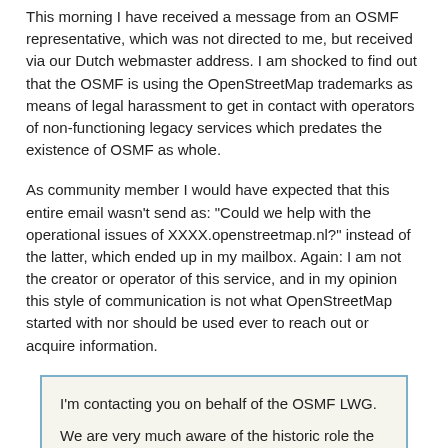This morning I have received a message from an OSMF representative, which was not directed to me, but received via our Dutch webmaster address. I am shocked to find out that the OSMF is using the OpenStreetMap trademarks as means of legal harassment to get in contact with operators of non-functioning legacy services which predates the existence of OSMF as whole.
As community member I would have expected that this entire email wasn't send as: "Could we help with the operational issues of XXXX.openstreetmap.nl?" instead of the latter, which ended up in my mailbox. Again: I am not the creator or operator of this service, and in my opinion this style of communication is not what OpenStreetMap started with nor should be used ever to reach out or acquire information.
I'm contacting you on behalf of the OSMF LWG.

We are very much aware of the historic role the service offered on XXXX.openstreetmap.nl has played in the development of OpenStreetMap, however the reoccurring issues with the service and the missing or